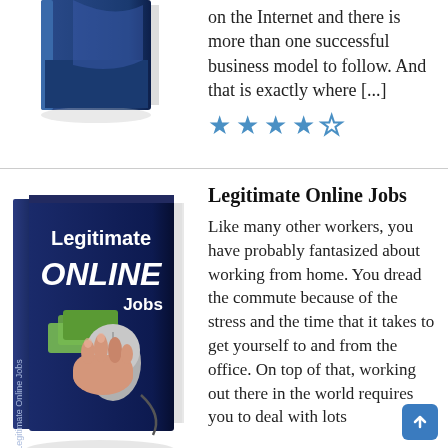[Figure (illustration): Top portion of a book cover visible at upper left, partially cropped]
on the Internet and there is more than one successful business model to follow. And that is exactly where [...]
[Figure (other): Star rating: 4 out of 5 stars in blue]
[Figure (illustration): Book cover for 'Legitimate Online Jobs' showing a hand using a computer mouse with dollar bills, dark blue background]
Legitimate Online Jobs
Like many other workers, you have probably fantasized about working from home. You dread the commute because of the stress and the time that it takes to get yourself to and from the office. On top of that, working out there in the world requires you to deal with lots